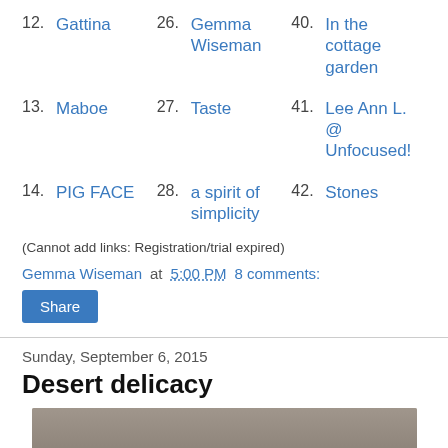12. Gattina
26. Gemma Wiseman
40. In the cottage garden
13. Maboe
27. Taste
41. Lee Ann L. @ Unfocused!
14. PIG FACE
28. a spirit of simplicity
42. Stones
(Cannot add links: Registration/trial expired)
Gemma Wiseman at 5:00 PM   8 comments:
Share
Sunday, September 6, 2015
Desert delicacy
[Figure (photo): Blurred outdoor photo showing a reddish flower or plant with muted grey-green foliage background]